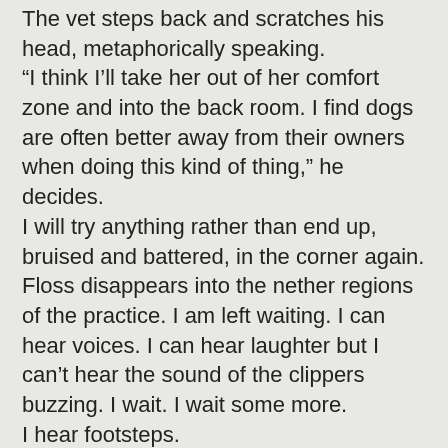The vet steps back and scratches his head, metaphorically speaking.
“I think I’ll take her out of her comfort zone and into the back room. I find dogs are often better away from their owners when doing this kind of thing,” he decides.
I will try anything rather than end up, bruised and battered, in the corner again.
Floss disappears into the nether regions of the practice. I am left waiting. I can hear voices. I can hear laughter but I can’t hear the sound of the clippers buzzing. I wait. I wait some more.
I hear footsteps.
Nice young Irish Vet opens the rear door and pops his head round, his expression rueful, “Had to use the scissors,” he smiles, “just putting the ointment on… and giving her an antibiotic jab, won’t be long,”
He disappears. I wait.